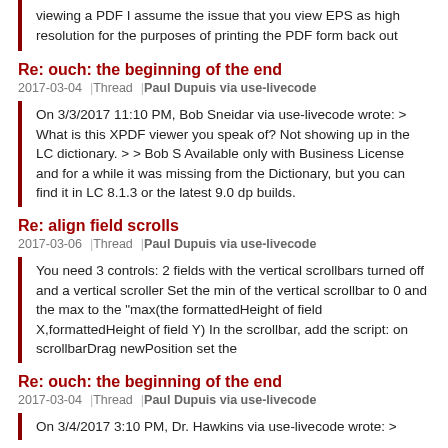viewing a PDF I assume the issue that you view EPS as high resolution for the purposes of printing the PDF form back out
Re: ouch: the beginning of the end
2017-03-04 | Thread | Paul Dupuis via use-livecode
On 3/3/2017 11:10 PM, Bob Sneidar via use-livecode wrote: > What is this XPDF viewer you speak of? Not showing up in the LC dictionary. > > Bob S Available only with Business License and for a while it was missing from the Dictionary, but you can find it in LC 8.1.3 or the latest 9.0 dp builds.
Re: align field scrolls
2017-03-06 | Thread | Paul Dupuis via use-livecode
You need 3 controls: 2 fields with the vertical scrollbars turned off and a vertical scroller Set the min of the vertical scrollbar to 0 and the max to the "max(the formattedHeight of field X,formattedHeight of field Y) In the scrollbar, add the script: on scrollbarDrag newPosition set the
Re: ouch: the beginning of the end
2017-03-04 | Thread | Paul Dupuis via use-livecode
On 3/4/2017 3:10 PM, Dr. Hawkins via use-livecode wrote: >